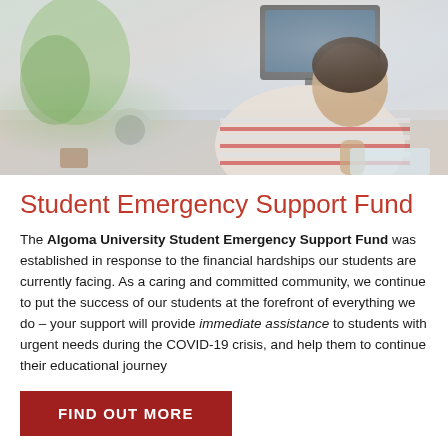[Figure (photo): Person with short dark hair viewed from behind, wearing a red and white striped shirt, sitting at a desk working on a computer. A plant, headphones, and monitor are visible in the background.]
Student Emergency Support Fund
The Algoma University Student Emergency Support Fund was established in response to the financial hardships our students are currently facing. As a caring and committed community, we continue to put the success of our students at the forefront of everything we do – your support will provide immediate assistance to students with urgent needs during the COVID-19 crisis, and help them to continue their educational journey
FIND OUT MORE